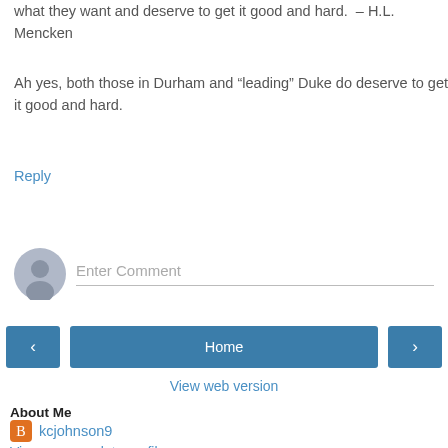what they want and deserve to get it good and hard. – H.L. Mencken
Ah yes, both those in Durham and "leading" Duke do deserve to get it good and hard.
Reply
[Figure (other): Comment input area with user avatar and Enter Comment placeholder text field]
< Home >
View web version
About Me
kcjohnson9
View my complete profile
Powered by Blogger.